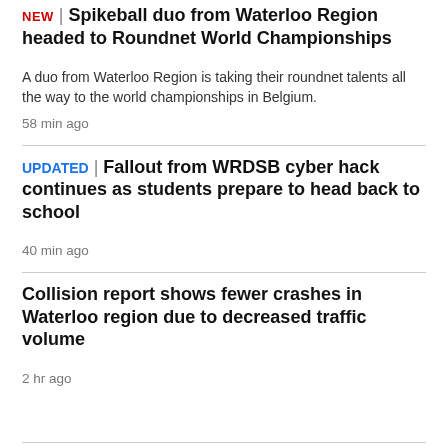NEW | Spikeball duo from Waterloo Region headed to Roundnet World Championships
A duo from Waterloo Region is taking their roundnet talents all the way to the world championships in Belgium.
58 min ago
UPDATED | Fallout from WRDSB cyber hack continues as students prepare to head back to school
40 min ago
Collision report shows fewer crashes in Waterloo region due to decreased traffic volume
2 hr ago
LONDON >